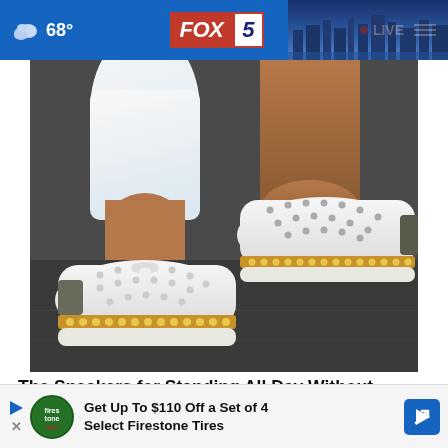FOX 5  ● LIVE  68°
[Figure (photo): Close-up photo of a person wearing white perforated slip-on sneakers with brown/tan cork-style soles and gold stud detailing, paired with white pants, standing on a sidewalk.]
The Sneakers for Standing All Day Without Discomfort - Now 60% Off!
Sunse...
Get Up To $110 Off a Set of 4 Select Firestone Tires